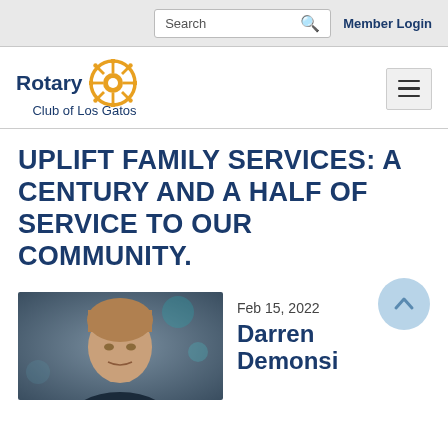Search  Member Login
[Figure (logo): Rotary Club of Los Gatos logo with orange wheel emblem and blue text]
UPLIFT FAMILY SERVICES: A CENTURY AND A HALF OF SERVICE TO OUR COMMUNITY.
[Figure (photo): Headshot photo of Darren Demonsi against a blurred background]
Feb 15, 2022
Darren Demonsi